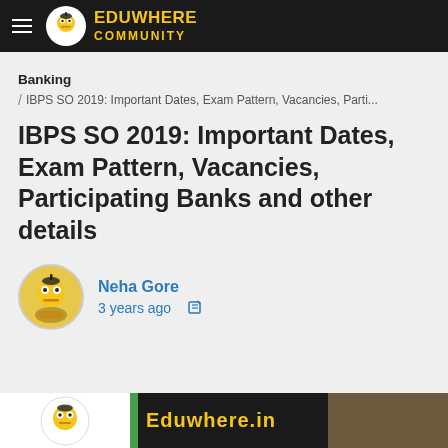EDUWHERE COMMUNITY
Banking
/ IBPS SO 2019: Important Dates, Exam Pattern, Vacancies, Parti...
IBPS SO 2019: Important Dates, Exam Pattern, Vacancies, Participating Banks and other details
Neha Gore
3 years ago
[Figure (screenshot): Eduwhere banner image showing logo and partial text 'Eduwhere.in' on dark background]